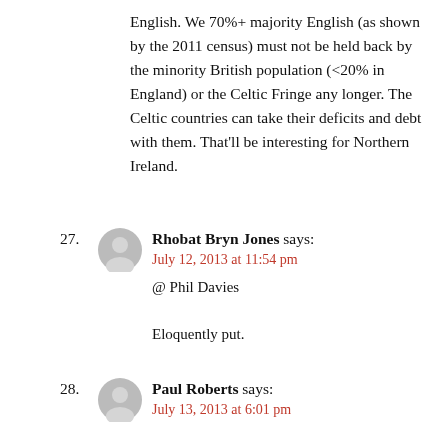English. We 70%+ majority English (as shown by the 2011 census) must not be held back by the minority British population (<20% in England) or the Celtic Fringe any longer. The Celtic countries can take their deficits and debt with them. That'll be interesting for Northern Ireland.
27. Rhobat Bryn Jones says:
July 12, 2013 at 11:54 pm
@ Phil Davies

Eloquently put.
28. Paul Roberts says:
July 13, 2013 at 6:01 pm